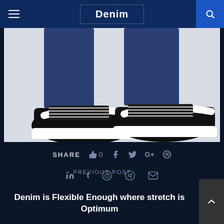Denim
[Figure (photo): Close-up photo of a person wearing black Vans Old Skool sneakers with white soles and white laces, with dark blue denim jeans. Two shoes visible, one pointing left and one pointing forward-right, on a white background.]
SHARE  👍 0  f  𝕏  G+  ⊕  in  t  ⊕  ✈  ✉
< PREVIOUS POST
Denim is Flexible Enough where stretch is Optimum